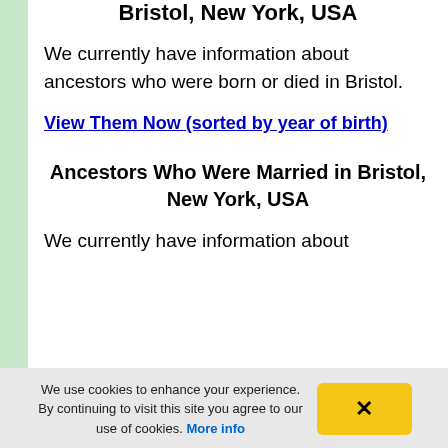Bristol, New York, USA
We currently have information about ancestors who were born or died in Bristol.
View Them Now (sorted by year of birth)
Ancestors Who Were Married in Bristol, New York, USA
We currently have information about
We use cookies to enhance your experience. By continuing to visit this site you agree to our use of cookies. More info